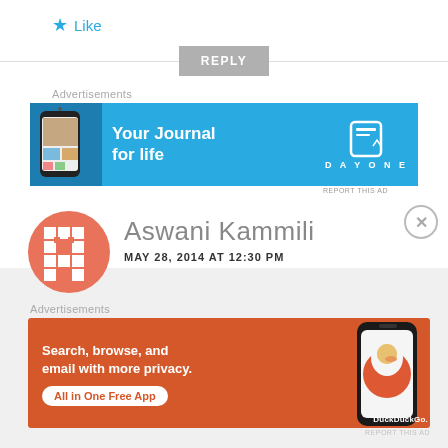★ Like
REPLY
Advertisements
[Figure (illustration): DayOne app advertisement banner with blue background showing 'Your Journal for life' text and phone mockup]
REPORT THIS AD
[Figure (illustration): Circular avatar with salmon/orange background and white pixel-art grid pattern]
Aswani Kammili
MAY 28, 2014 AT 12:30 PM
Advertisements
[Figure (illustration): DuckDuckGo advertisement banner with orange/red background showing 'Search, browse, and email with more privacy. All in One Free App' text and phone mockup with DuckDuckGo logo]
REPORT THIS AD